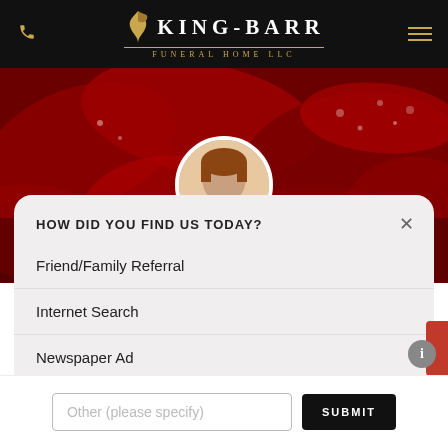KING-BARR FUNERAL HOME LLC
[Figure (photo): Red rose petals background with water droplets, and a circular profile photo of a person with blonde/reddish hair in the center]
HOW DID YOU FIND US TODAY?
Friend/Family Referral
Internet Search
Newspaper Ad
Other (please specify)
SUBMIT